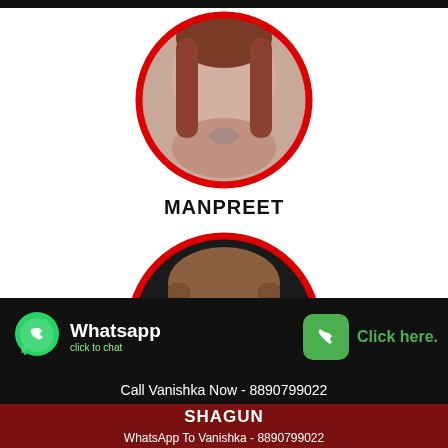[Figure (photo): Circular photo of Manpreet with red border ring, showing a person with long reddish-brown hair and a tattoo on chest, against outdoor background]
MANPREET
[Figure (photo): Circular photo of Shagun with red border ring, showing a person with brown hair, pink makeup, nose ring, against dark background]
[Figure (infographic): WhatsApp click to chat button with green WhatsApp icon on left, and green phone icon with 'Click here.' text on right, on black background strip]
Call Vanishka Now - 8890799022
SHAGUN
WhatsApp To Vanishka - 8890799022